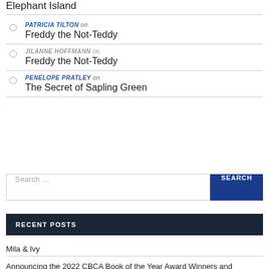Elephant Island
PATRICIA TILTON on
Freddy the Not-Teddy
JILANNE HOFFMANN on
Freddy the Not-Teddy
PENELOPE PRATLEY on
The Secret of Sapling Green
Search ...
RECENT POSTS
Mila & Ivy
Announcing the 2022 CBCA Book of the Year Award Winners and